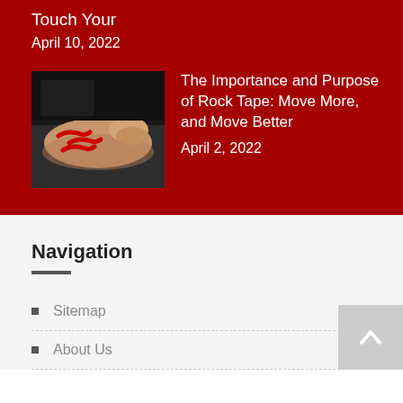Touch Your
April 10, 2022
[Figure (photo): A person having kinesiology tape applied to their arm by a practitioner]
The Importance and Purpose of Rock Tape: Move More, and Move Better
April 2, 2022
Navigation
Sitemap
About Us